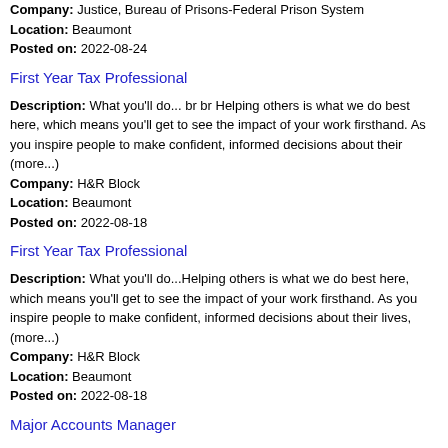Company: Justice, Bureau of Prisons-Federal Prison System
Location: Beaumont
Posted on: 2022-08-24
First Year Tax Professional
Description: What you'll do... br br Helping others is what we do best here, which means you'll get to see the impact of your work firsthand. As you inspire people to make confident, informed decisions about their (more...)
Company: H&R Block
Location: Beaumont
Posted on: 2022-08-18
First Year Tax Professional
Description: What you'll do...Helping others is what we do best here, which means you'll get to see the impact of your work firsthand. As you inspire people to make confident, informed decisions about their lives, (more...)
Company: H&R Block
Location: Beaumont
Posted on: 2022-08-18
Major Accounts Manager
Description: Job OverviewThe Colt Group is seeking a highly motivated individual who values a company that emphasizes quality and integrity. This individual will not only be expected to maintain existing customers (more...)
Company: COLT SERVICES LLC